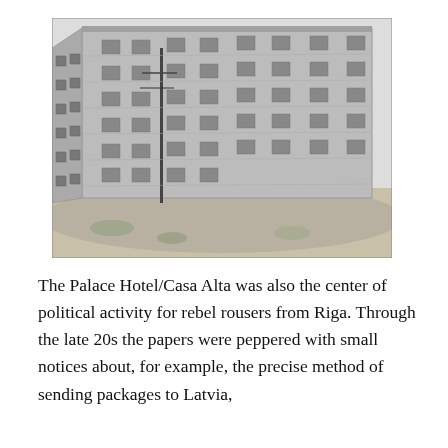[Figure (photo): Black and white photograph of a large multi-story building (Palace Hotel/Casa Alta), a wide rectangular structure with many windows, photographed from a low angle showing the building's facade and surrounding open terrain.]
The Palace Hotel/Casa Alta was also the center of political activity for rebel rousers from Riga. Through the late 20s the papers were peppered with small notices about, for example, the precise method of sending packages to Latvia,